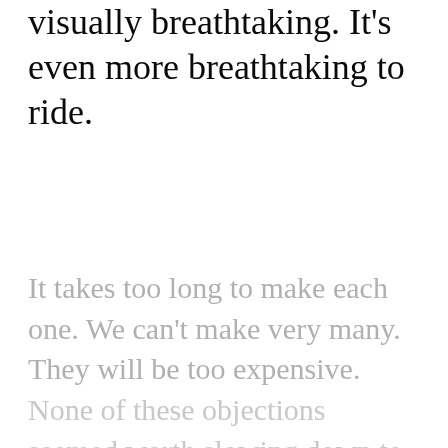visually breathtaking. It’s even more breathtaking to ride.
It takes too long to make each one. We can’t make very many. They will be too expensive.
None of these objections seemed worth slowing down to consider.